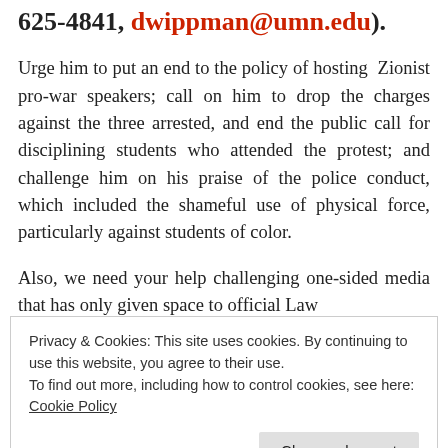625-4841, dwippman@umn.edu).
Urge him to put an end to the policy of hosting Zionist pro-war speakers; call on him to drop the charges against the three arrested, and end the public call for disciplining students who attended the protest; and challenge him on his praise of the police conduct, which included the shameful use of physical force, particularly against students of color.
Also, we need your help challenging one-sided media that has only given space to official Law
Privacy & Cookies: This site uses cookies. By continuing to use this website, you agree to their use.
To find out more, including how to control cookies, see here: Cookie Policy
We have published our responses to the